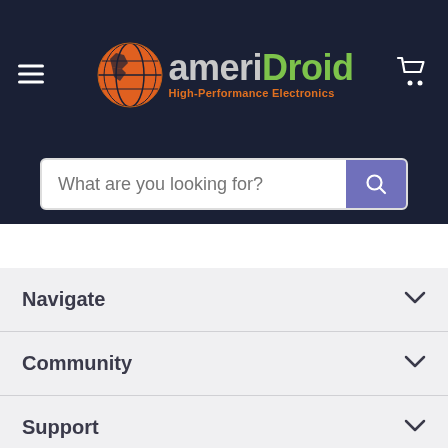[Figure (logo): AmeriDroid logo with orange globe and green/gray text reading 'ameriDroid High-Performance Electronics' on dark navy background]
What are you looking for?
Navigate
Community
Support
Follow us
[Figure (infographic): Social media icons: Facebook, Twitter, Instagram, YouTube, Email in gray circles]
Chat with us